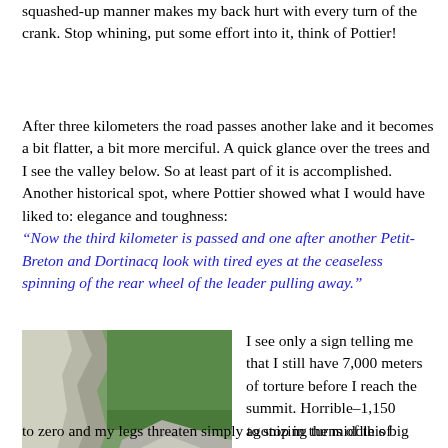squashed-up manner makes my back hurt with every turn of the crank. Stop whining, put some effort into it, think of Pottier!
After three kilometers the road passes another lake and it becomes a bit flatter, a bit more merciful. A quick glance over the trees and I see the valley below. So at least part of it is accomplished. Another historical spot, where Pottier showed what I would have liked to: elegance and toughness: “Now the third kilometer is passed and one after another Petit-Breton and Dortinacq look with tired eyes at the ceaseless spinning of the rear wheel of the leader pulling away.”
[Figure (photo): A cyclist riding on a steep mountain road, with a large rock face on the left and green trees in the background.]
I see only a sign telling me that I still have 7,000 meters of torture before I reach the summit. Horrible–1,150 agonizing turns of this big gear. Saint Pottier, will this never end?! In the serpentines, particularly, my speed drifts dangerously close to zero and my legs threaten simply to stop in the middle of